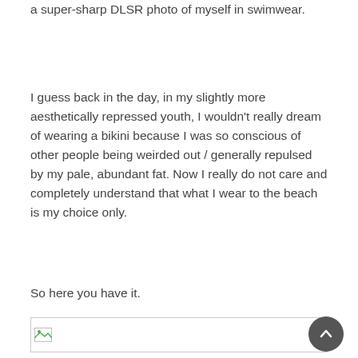a super-sharp DLSR photo of myself in swimwear.
I guess back in the day, in my slightly more aesthetically repressed youth, I wouldn't really dream of wearing a bikini because I was so conscious of other people being weirded out / generally repulsed by my pale, abundant fat. Now I really do not care and completely understand that what I wear to the beach is my choice only.
So here you have it.
[Figure (photo): Partially loaded image placeholder at the bottom of the page]